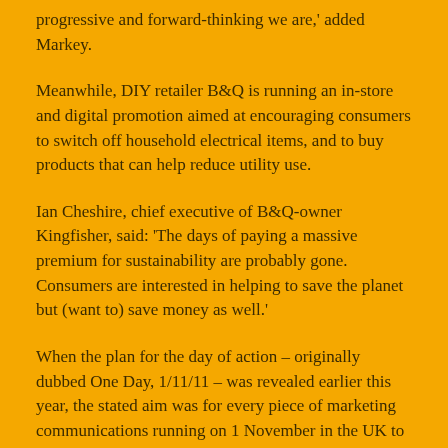progressive and forward-thinking we are,' added Markey.
Meanwhile, DIY retailer B&Q is running an in-store and digital promotion aimed at encouraging consumers to switch off household electrical items, and to buy products that can help reduce utility use.
Ian Cheshire, chief executive of B&Q-owner Kingfisher, said: 'The days of paying a massive premium for sustainability are probably gone. Consumers are interested in helping to save the planet but (want to) save money as well.'
When the plan for the day of action – originally dubbed One Day, 1/11/11 – was revealed earlier this year, the stated aim was for every piece of marketing communications running on 1 November in the UK to include a green message. However, just 10 companies signed up to the scheme.